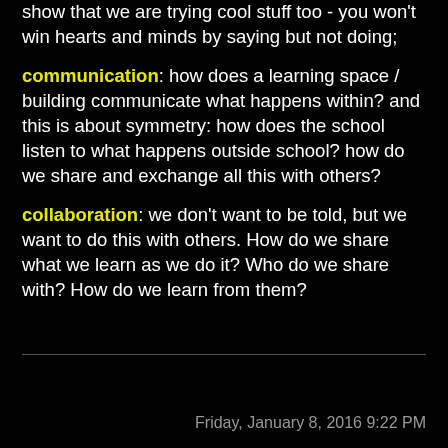show that we are trying cool stuff too - you won't win hearts and minds by saying but not doing;
communication: how does a learning space / building communicate what happens within? and this is about symmetry: how does the school listen to what happens outside school? how do we share and exchange all this with others?
collaboration: we don't want to be told, but we want to do this with others. How do we share what we learn as we do it? Who do we share with? How do we learn from them?
Friday, January 8, 2016 9:22 PM